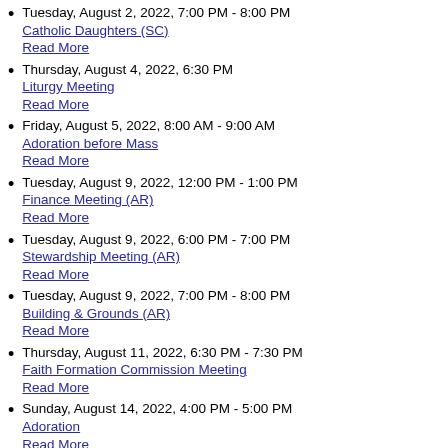Tuesday, August 2, 2022, 7:00 PM - 8:00 PM
Catholic Daughters (SC)
Read More
Thursday, August 4, 2022, 6:30 PM
Liturgy Meeting
Read More
Friday, August 5, 2022, 8:00 AM - 9:00 AM
Adoration before Mass
Read More
Tuesday, August 9, 2022, 12:00 PM - 1:00 PM
Finance Meeting (AR)
Read More
Tuesday, August 9, 2022, 6:00 PM - 7:00 PM
Stewardship Meeting (AR)
Read More
Tuesday, August 9, 2022, 7:00 PM - 8:00 PM
Building & Grounds (AR)
Read More
Thursday, August 11, 2022, 6:30 PM - 7:30 PM
Faith Formation Commission Meeting
Read More
Sunday, August 14, 2022, 4:00 PM - 5:00 PM
Adoration
Read More
Tuesday, August 16, 2022, 6:00 PM - 7:00 PM